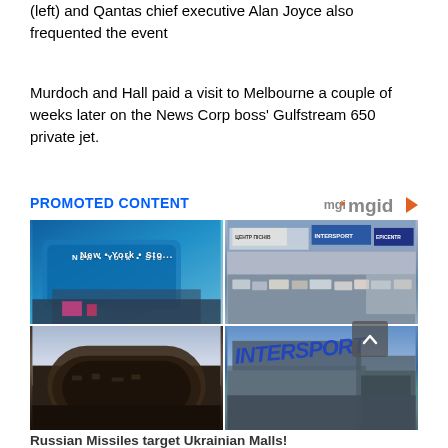(left) and Qantas chief executive Alan Joyce also frequented the event
Murdoch and Hall paid a visit to Melbourne a couple of weeks later on the News Corp boss' Gulfstream 650 private jet.
PROMOTED CONTENT
[Figure (photo): Four-panel photo grid showing two shopping malls: top-left shows a modern blue-facade mall with 'New York Store' text, top-right shows a shopping center with Intersport and other store signs with parked cars, bottom-left shows a burned/destroyed building, bottom-right shows a damaged Intersport store. Caption: 'Russian Missiles target Ukrainian Malls! See Before-After Images']
Russian Missiles target Ukrainian Malls! See Before-After Images